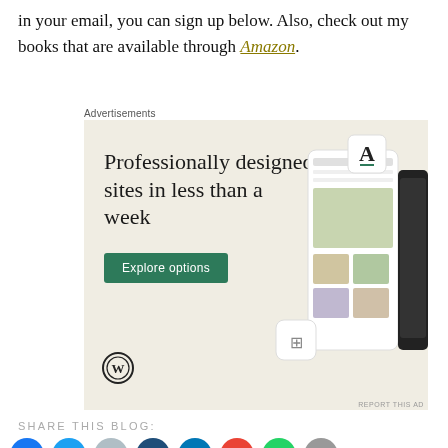in your email, you can sign up below. Also, check out my books that are available through Amazon.
Advertisements
[Figure (infographic): WordPress advertisement showing 'Professionally designed sites in less than a week' with an Explore options button, WordPress logo, and device mockup screenshots of website layouts on a beige background.]
SHARE THIS BLOG: